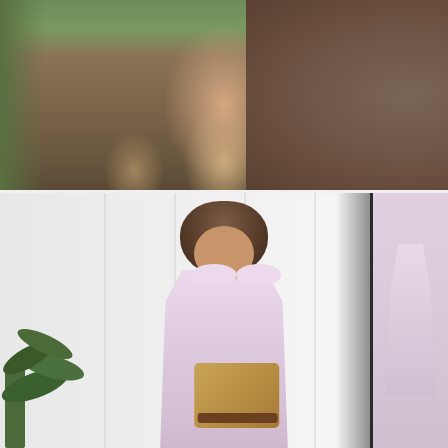[Figure (photo): Woman outdoors standing near a large tree stump, wearing denim shorts, a light blue shirt, cowboy boots, and holding a straw hat and small bag. Green grass and natural roots visible in background.]
[Figure (photo): Woman wearing a lavender/lilac ruffled dress holding a woven straw basket bag, reflected in a mirror. A play button icon overlay is centered on the image, indicating a video. Plant visible at left. White paneled wall in background.]